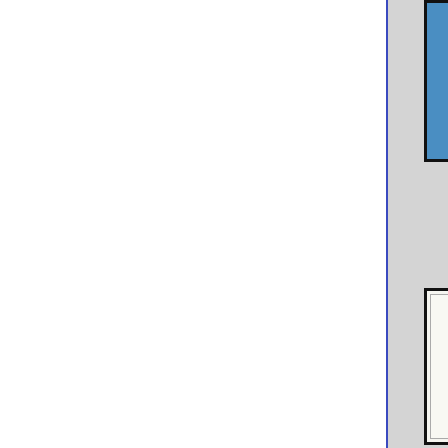[Figure (photo): White page panel with blue vertical border on right side]
[Figure (photo): Partial view of a blue-background stamp display board with a brownish/gold stamp in upper right corner]
[Figure (illustration): Book cover for a Norwegian philatelic reference work. Text reads 'T. S...' at top, then 'NOR... SPORTEL-, JUSTER...' as title in bold italic, with a postage stamp illustration in center and publisher information at bottom reading 'OSLO F... WINNERSI... G...']